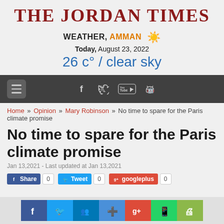THE JORDAN TIMES
WEATHER, AMMAN ☀ Today, August 23, 2022 26 c° / clear sky
[Figure (screenshot): Navigation bar with hamburger menu icon and social/app icons (Facebook, Twitter, YouTube, Android, Apple)]
Home » Opinion » Mary Robinson » No time to spare for the Paris climate promise
No time to spare for the Paris climate promise
Jan 13,2021 - Last updated at Jan 13,2021
Share 0   Tweet 0   googleplus 0
[Figure (screenshot): Bottom social media sharing icons: Facebook, Twitter, LinkedIn, share, Google+, WhatsApp, Print]